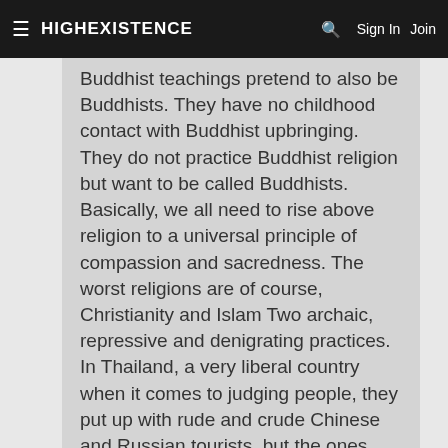≡ HIGHEXISTENCE  🔍  Sign In  Join
Buddhist teachings pretend to also be Buddhists. They have no childhood contact with Buddhist upbringing. They do not practice Buddhist religion but want to be called Buddhists. Basically, we all need to rise above religion to a universal principle of compassion and sacredness. The worst religions are of course, Christianity and Islam Two archaic, repressive and denigrating practices. In Thailand, a very liberal country when it comes to judging people, they put up with rude and crude Chinese and Russian tourists, but the ones they dislike the most are Indians. Indians are so